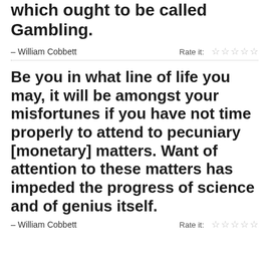which ought to be called Gambling.
– William Cobbett
Rate it: ☆☆☆☆☆
Be you in what line of life you may, it will be amongst your misfortunes if you have not time properly to attend to pecuniary [monetary] matters. Want of attention to these matters has impeded the progress of science and of genius itself.
– William Cobbett
Rate it: ☆☆☆☆☆